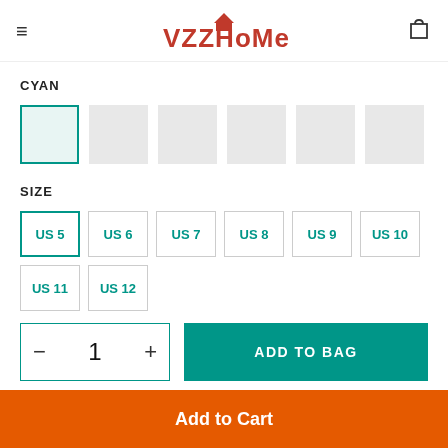VZZHome
CYAN
[Figure (other): Six color swatch boxes, first selected with teal border]
SIZE
US 5 (selected), US 6, US 7, US 8, US 9, US 10
US 11, US 12
- 1 + | ADD TO BAG
Add to Cart